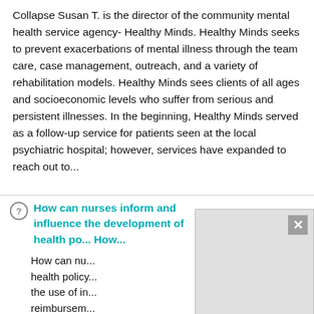Collapse Susan T. is the director of the community mental health service agency- Healthy Minds. Healthy Minds seeks to prevent exacerbations of mental illness through the team care, case management, outreach, and a variety of rehabilitation models. Healthy Minds sees clients of all ages and socioeconomic levels who suffer from serious and persistent illnesses. In the beginning, Healthy Minds served as a follow-up service for patients seen at the local psychiatric hospital; however, services have expanded to reach out to...
How can nurses inform and influence the development of health po... How...
How can nu... health policy... the use of in... reimbursem...
[Figure (screenshot): Overlay panel with close (X) button in top-right corner and media playback controls (play button and mute button) at bottom.]